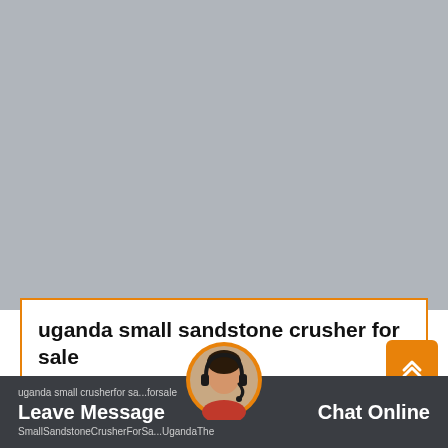[Figure (photo): Large grey placeholder image area, approximately the top two-thirds of the page]
uganda small sandstone crusher for sale
[Figure (photo): Customer service avatar/person with headset in orange circular frame]
uganda small crusherfor sa...forsale SmallSandstoneCrusherForSa...UgandaThe   Leave Message   Chat Online